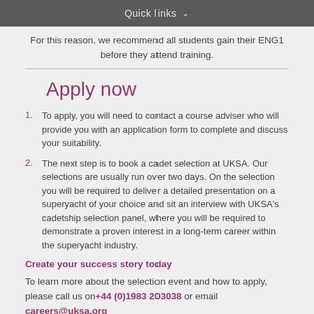Quick links
For this reason, we recommend all students gain their ENG1 before they attend training.
Apply now
To apply, you will need to contact a course adviser who will provide you with an application form to complete and discuss your suitability.
The next step is to book a cadet selection at UKSA. Our selections are usually run over two days. On the selection you will be required to deliver a detailed presentation on a superyacht of your choice and sit an interview with UKSA's cadetship selection panel, where you will be required to demonstrate a proven interest in a long-term career within the superyacht industry.
Create your success story today
To learn more about the selection event and how to apply, please call us on +44 (0)1983 203038 or email careers@uksa.org